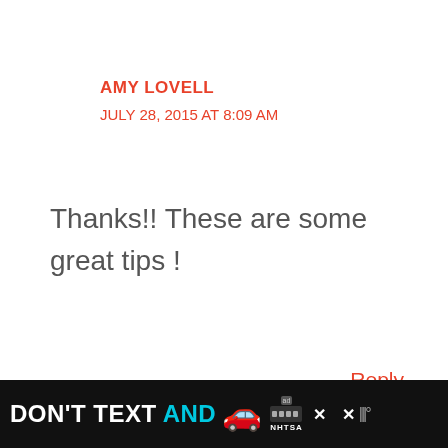AMY LOVELL
JULY 28, 2015 AT 8:09 AM
Thanks!! These are some great tips !
Reply
ELIZABETH MATTHIESEN
[Figure (screenshot): Ad banner at bottom: DON'T TEXT AND with car emoji, ad badge, NHTSA logo, close buttons]
[Figure (other): Share button icon (circle with share symbol)]